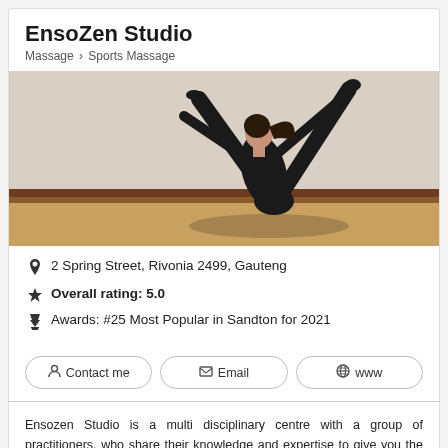EnsoZen Studio
Massage > Sports Massage
[Figure (photo): Woman in black athletic wear performing a Pilates or yoga pose, balancing on her tailbone with legs extended upward and arms reaching forward, in a studio with light-colored walls and wooden floor baseboard.]
2 Spring Street, Rivonia 2499, Gauteng
Overall rating: 5.0
Awards: #25 Most Popular in Sandton for 2021
Contact me
Email
www
Ensozen Studio is a multi disciplinary centre with a group of practitioners, who share their knowledge and expertise to give you the best outcome. We specialise in sports performance, injury prevention, rehabilitation and recovery. Located in Rivonia, we attract clients from the greater Sandton area. First established as a Pilates and Massage